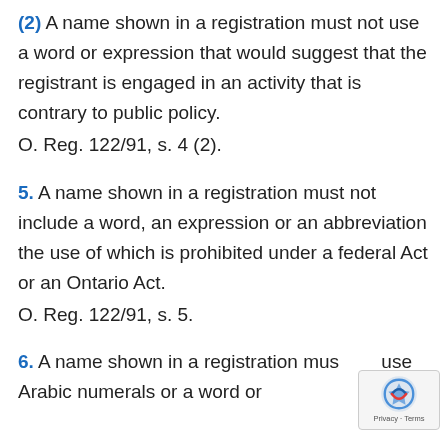(2) A name shown in a registration must not use a word or expression that would suggest that the registrant is engaged in an activity that is contrary to public policy. O. Reg. 122/91, s. 4 (2).
5. A name shown in a registration must not include a word, an expression or an abbreviation the use of which is prohibited under a federal Act or an Ontario Act. O. Reg. 122/91, s. 5.
6. A name shown in a registration must not use Arabic numerals or a word or